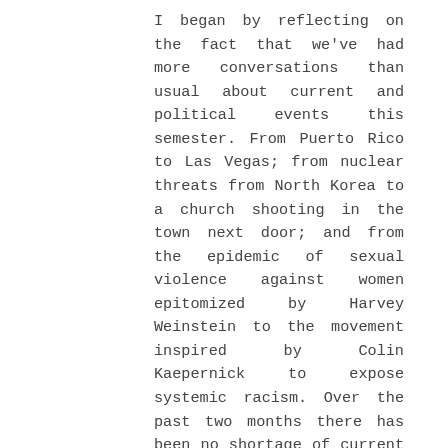I began by reflecting on the fact that we've had more conversations than usual about current and political events this semester. From Puerto Rico to Las Vegas; from nuclear threats from North Korea to a church shooting in the town next door; and from the epidemic of sexual violence against women epitomized by Harvey Weinstein to the movement inspired by Colin Kaepernick to expose systemic racism. Over the past two months there has been no shortage of current events for our students to assess or debate from the position of "What would you do?"
I went on to say that I wanted to have a different type of conversation. Rather than describing or offering their own opinions, I would be asking them to do a higher level of analysis. Description, I told them, is an important part of what we do in religious studies, but that's not all we do. I called on the students who are also enrolled in my Jesus